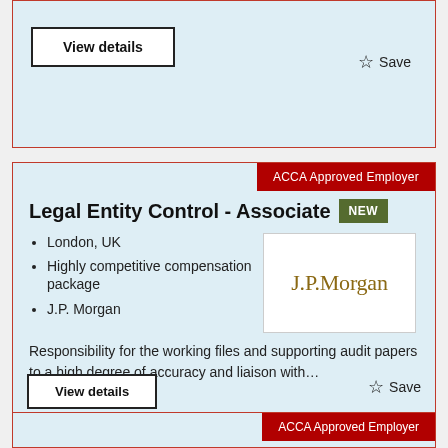View details
Save
ACCA Approved Employer
Legal Entity Control - Associate
London, UK
Highly competitive compensation package
J.P. Morgan
[Figure (logo): J.P. Morgan logo in dark gold/brown serif font on white background]
Responsibility for the working files and supporting audit papers to a high degree of accuracy and liaison with…
View details
Save
ACCA Approved Employer